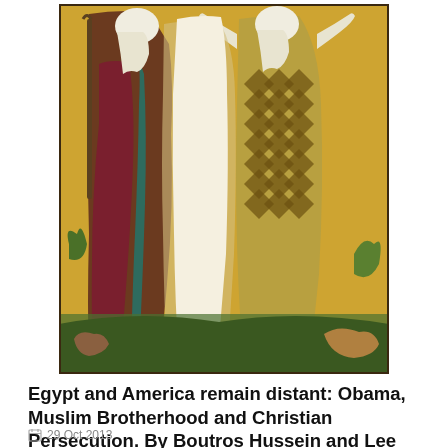[Figure (illustration): Religious icon painting showing two robed elder figures with white beards on a golden background. The left figure holds a staff and wears brown/maroon robes. The right figure has arms raised and wears a diamond-patterned garment. Animals and foliage appear at the bottom.]
Egypt and America remain distant: Obama, Muslim Brotherhood and Christian Persecution. By Boutros Hussein and Lee Jay Walker
29 Oct 2013